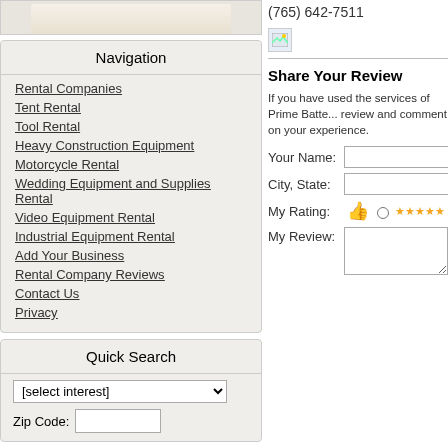[Figure (photo): Top image showing light-colored furniture (sofa/couch), partially cropped]
Navigation
Rental Companies
Tent Rental
Tool Rental
Heavy Construction Equipment
Motorcycle Rental
Wedding Equipment and Supplies Rental
Video Equipment Rental
Industrial Equipment Rental
Add Your Business
Rental Company Reviews
Contact Us
Privacy
Quick Search
[select interest]
Zip Code:
(765) 642-7511
[Figure (illustration): Broken/placeholder image icon]
Share Your Review
If you have used the services of Prime Batte... review and comment on your experience.
Your Name:
City, State:
My Rating:
My Review: